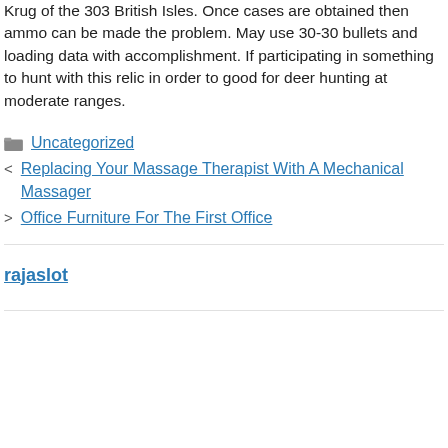Krug of the 303 British Isles. Once cases are obtained then ammo can be made the problem. May use 30-30 bullets and loading data with accomplishment. If participating in something to hunt with this relic in order to good for deer hunting at moderate ranges.
Uncategorized
Replacing Your Massage Therapist With A Mechanical Massager
Office Furniture For The First Office
rajaslot